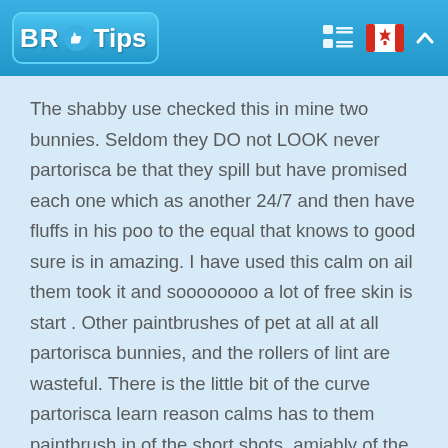BR Tips
The shabby use checked this in mine two bunnies. Seldom they DO not LOOK never partorisca be that they spill but have promised each one which as another 24/7 and then have fluffs in his poo to the equal that knows to good sure is in amazing. I have used this calm on ail them took it and soooooooo a lot of free skin is start . Other paintbrushes of pet at all at all partorisca bunnies, and the rollers of lint are wasteful. There is the little bit of the curve partorisca learn reason calms has to them paintbrush in of the short shots, amiably of the scooping motion so that some